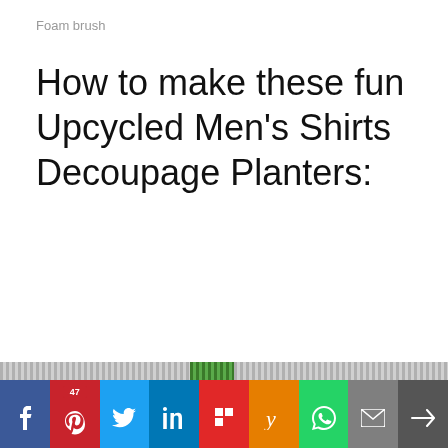Foam brush
How to make these fun Upcycled Men's Shirts Decoupage Planters:
[Figure (other): Horizontal scrollbar with striped pattern and green thumb indicator]
[Figure (infographic): Social media sharing bar with buttons: Facebook, Pinterest (47 pins), Twitter, LinkedIn, Flipboard, Yummly, WhatsApp, Email, Share]